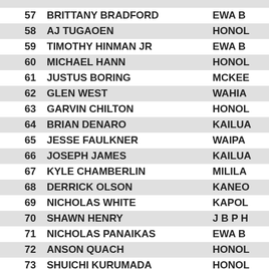| # | Name | City |
| --- | --- | --- |
| 57 | BRITTANY BRADFORD | EWA B... |
| 58 | AJ TUGAOEN | HONOL... |
| 59 | TIMOTHY HINMAN JR | EWA B... |
| 60 | MICHAEL HANN | HONOL... |
| 61 | JUSTUS BORING | MCKEE... |
| 62 | GLEN WEST | WAHIA... |
| 63 | GARVIN CHILTON | HONOL... |
| 64 | BRIAN DENARO | KAILUA... |
| 65 | JESSE FAULKNER | WAIPA... |
| 66 | JOSEPH JAMES | KAILUA... |
| 67 | KYLE CHAMBERLIN | MILILA... |
| 68 | DERRICK OLSON | KANEO... |
| 69 | NICHOLAS WHITE | KAPOL... |
| 70 | SHAWN HENRY | J B P H... |
| 71 | NICHOLAS PANAIKAS | EWA B... |
| 72 | ANSON QUACH | HONOL... |
| 73 | SHUICHI KURUMADA | HONOL... |